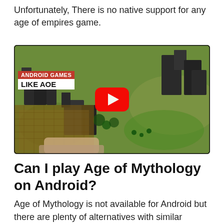Unfortunately, There is no native support for any age of empires game.
[Figure (screenshot): YouTube video thumbnail showing a smartphone held in hand displaying an Age of Empires-style Android game. Top-left overlay reads 'ANDROID GAMES LIKE AOE' in red and white labels. A red YouTube play button is centered on the image.]
Can I play Age of Mythology on Android?
Age of Mythology is not available for Android but there are plenty of alternatives with similar functionality. The best Android...